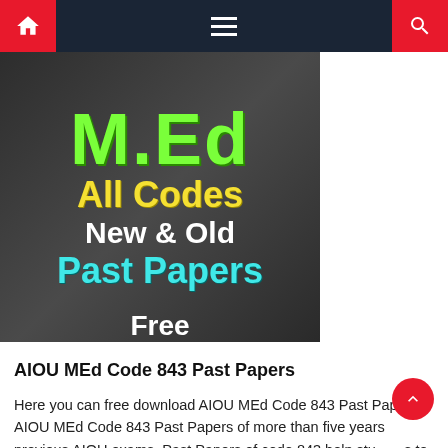Navigation bar with home icon, hamburger menu, and search icon
[Figure (illustration): Promotional banner image showing text 'M.Ed All Codes New & Old Past Papers Free' in colorful text over a dark background with pen/pencil]
AIOU
AIOU MEd Code 843 Past Papers
Here you can free download AIOU MEd Code 843 Past Papers. AIOU MEd Code 843 Past Papers of more than five years previous AIOU exams. Past Papers of code 843 help students to better prepare their exams. Therefore, we provide all MEd